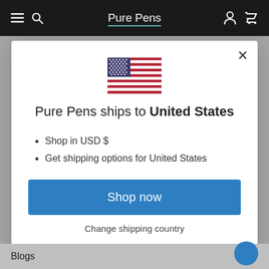Pure Pens
[Figure (illustration): US flag icon]
Pure Pens ships to United States
Shop in USD $
Get shipping options for United States
Shop now
Change shipping country
Blogs